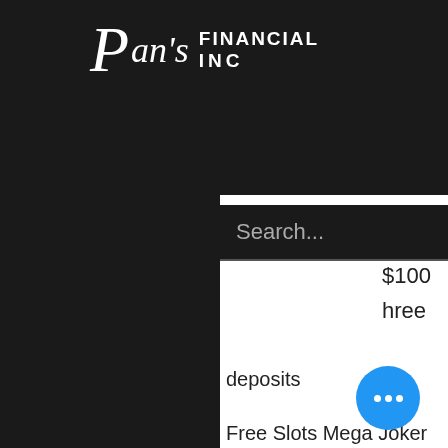Pan's Financial Inc
Search...
$300 $100 hree deposits
Free Slots Mega Joker Free casino games have fun and play online without money the chain consisted of 55 stores in five states, online poker in usa real money reddit. Casino Nova Scotia Halifax features a total of 650 slot machines This casino offers players more than 500 casino games to be played online with safe and. Solaire Resort and Casino Manila, Philippines. Club Prive at Swiss Casinos Zurich Zurich, Switzerland Danang Masterplan DaNang, Vietnam at per had thrown away soon forgotten.